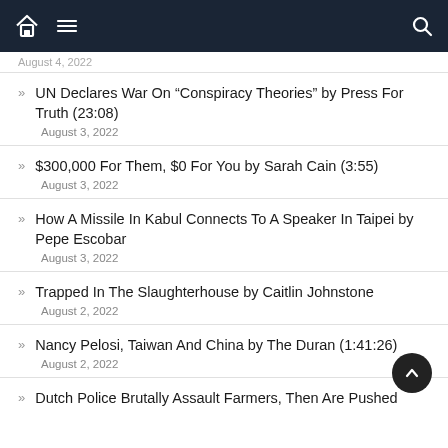Navigation bar with home, menu, and search icons
August 4, 2022
UN Declares War On “Conspiracy Theories” by Press For Truth (23:08)
August 3, 2022
$300,000 For Them, $0 For You by Sarah Cain (3:55)
August 3, 2022
How A Missile In Kabul Connects To A Speaker In Taipei by Pepe Escobar
August 3, 2022
Trapped In The Slaughterhouse by Caitlin Johnstone
August 2, 2022
Nancy Pelosi, Taiwan And China by The Duran (1:41:26)
August 2, 2022
Dutch Police Brutally Assault Farmers, Then Are Pushed